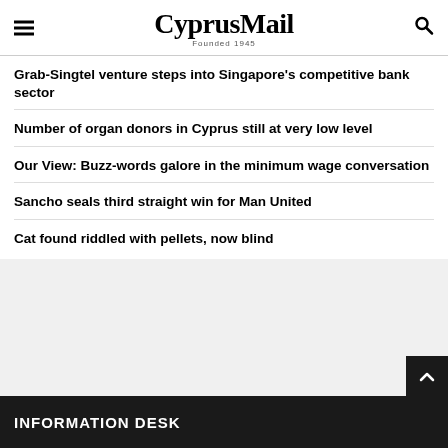CyprusMail Founded 1945
Grab-Singtel venture steps into Singapore's competitive bank sector
Number of organ donors in Cyprus still at very low level
Our View: Buzz-words galore in the minimum wage conversation
Sancho seals third straight win for Man United
Cat found riddled with pellets, now blind
INFORMATION DESK